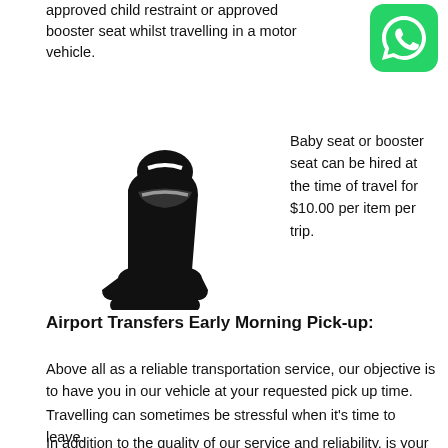approved child restraint or approved booster seat whilst travelling in a motor vehicle.
[Figure (logo): WhatsApp logo — green rounded square with white phone handset icon]
[Figure (illustration): Black silhouette icon of a child car seat / booster seat]
Baby seat or booster seat can be hired at the time of travel for $10.00 per item per trip.
Airport Transfers Early Morning Pick-up:
Above all as a reliable transportation service, our objective is to have you in our vehicle at your requested pick up time.
Travelling can sometimes be stressful when it's time to leave.
In addition to the quality of our service and reliability, is your wellbeing